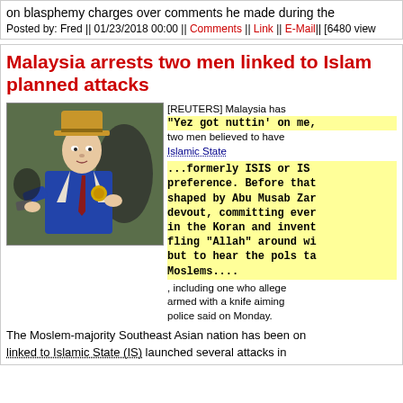on blasphemy charges over comments he made during the
Posted by: Fred || 01/23/2018 00:00 || Comments || Link || E-Mail|| [6480 view
Malaysia arrests two men linked to Islamic State planned attacks
[Figure (illustration): Illustrated image of a man in a blue suit and brown hat holding a gun, styled like a vintage detective comic character]
[REUTERS] Malaysia has arrested two men believed to have links to Islamic State ...formerly ISIS or IS, depending on your preference. Before that it was al-Qaeda and various and sundry.. shaped by Abu Musab Zarqawi, often called devout, committing everything they do to what they say is in the Koran and inventing the rest. They drive out infidels, fling "Allah" around with every other sentence, but to hear the pols talk, they are not Moslems.... , including one who allegedly was armed with a knife aiming to attack police said on Monday.
The Moslem-majority Southeast Asian nation has been on linked to Islamic State (IS) launched several attacks in